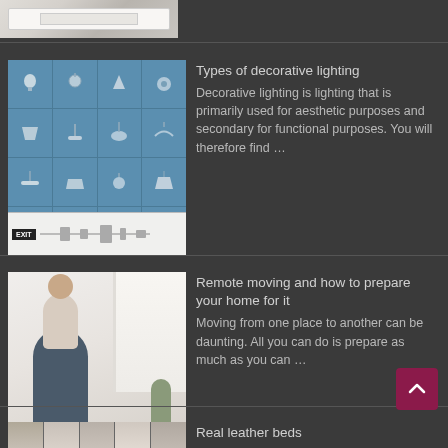[Figure (photo): Partial top view of a living room with white sofas]
[Figure (illustration): Grid chart showing types of decorative lighting fixtures with an EXIT sign strip at bottom]
Types of decorative lighting
Decorative lighting is lighting that is primarily used for aesthetic purposes and secondary for functional purposes. You will therefore find …
[Figure (photo): Photo of a man with a child on his shoulders at a dining table, preparing for moving]
Remote moving and how to prepare your home for it
Moving from one place to another can be daunting. All you can do is prepare as much as you can …
[Figure (photo): Partial strip image of leather beds]
Real leather beds